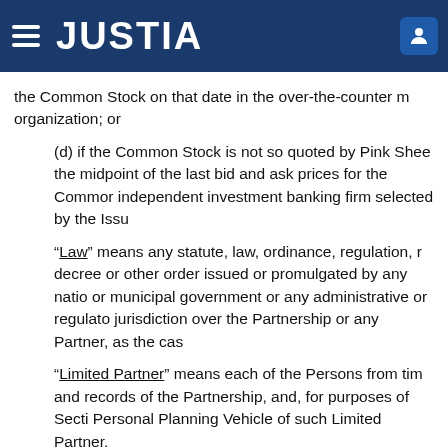JUSTIA
the Common Stock on that date in the over-the-counter m organization; or
(d) if the Common Stock is not so quoted by Pink Shee the midpoint of the last bid and ask prices for the Commor independent investment banking firm selected by the Issu
“Law” means any statute, law, ordinance, regulation, r decree or other order issued or promulgated by any natio or municipal government or any administrative or regulato jurisdiction over the Partnership or any Partner, as the cas
“Limited Partner” means each of the Persons from tim and records of the Partnership, and, for purposes of Secti Personal Planning Vehicle of such Limited Partner.
“Liquidation Agent” has the meaning set forth in Secti
“Minimum Retained Ownership Requirement” has th